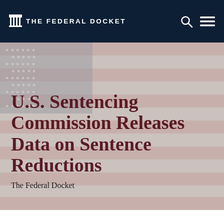THE FEDERAL DOCKET
U.S. Sentencing Commission Releases Data on Sentence Reductions
The Federal Docket